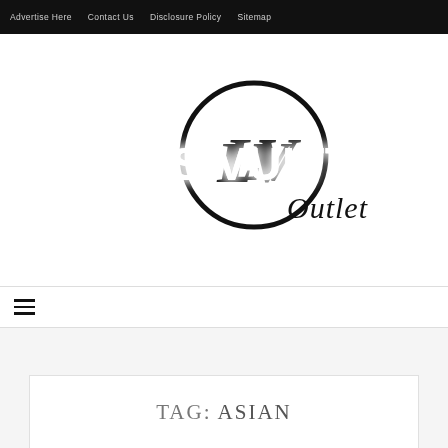Advertise Here   Contact Us   Disclosure Policy   Sitemap
[Figure (logo): Louis Vuitton Outlet logo — bold white text 'LOUIS VUITTON' with LV monogram circle and script 'Outlet' text]
≡ (hamburger menu icon)
TAG: ASIAN